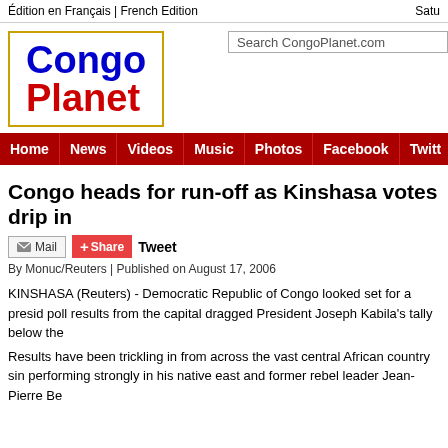Édition en Français | French Edition    Satur
[Figure (logo): Congo Planet logo — 'Congo' in bold blue, 'Planet' in bold red, inside a gold/orange border box]
Search CongoPlanet.com
Home | News | Videos | Music | Photos | Facebook | Twitt
Congo heads for run-off as Kinshasa votes drip in
Mail  Share  Tweet
By Monuc/Reuters | Published on August 17, 2006
KINSHASA (Reuters) - Democratic Republic of Congo looked set for a presid poll results from the capital dragged President Joseph Kabila's tally below the
Results have been trickling in from across the vast central African country sin performing strongly in his native east and former rebel leader Jean-Pierre Be